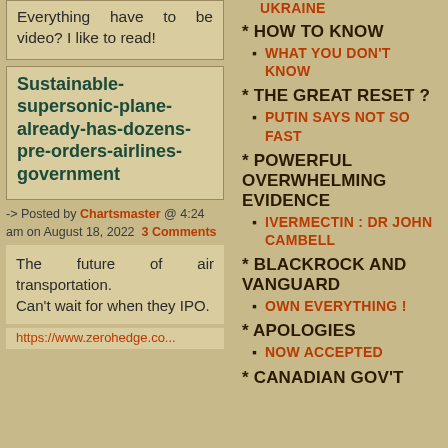Everything have to be video? I like to read!
Sustainable-supersonic-plane-already-has-dozens-pre-orders-airlines-government
-> Posted by Chartsmaster @ 4:24 am on August 18, 2022  3 Comments
The future of air transportation.
Can't wait for when they IPO.
https://www.zerohedge.co...
UKRAINE
* HOW TO KNOW
WHAT YOU DON'T KNOW
* THE GREAT RESET ?
PUTIN SAYS NOT SO FAST
* POWERFUL OVERWHELMING EVIDENCE
IVERMECTIN : DR JOHN CAMBELL
* BLACKROCK AND VANGUARD
OWN EVERYTHING !
* APOLOGIES
NOW ACCEPTED
* CANADIAN GOV'T